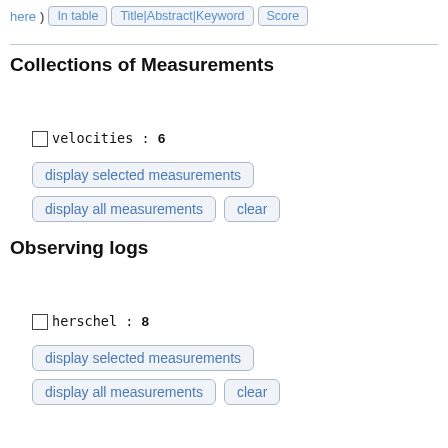here) In table Title|Abstract|Keyword Score
Collections of Measurements
velocities : 6
display selected measurements
display all measurements   clear
Observing logs
herschel : 8
display selected measurements
display all measurements   clear